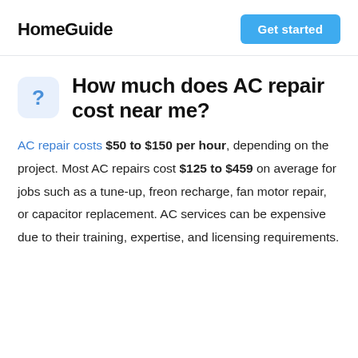HomeGuide | Get started
How much does AC repair cost near me?
AC repair costs $50 to $150 per hour, depending on the project. Most AC repairs cost $125 to $459 on average for jobs such as a tune-up, freon recharge, fan motor repair, or capacitor replacement. AC services can be expensive due to their training, expertise, and licensing requirements.